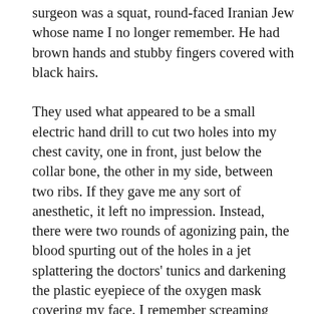surgeon was a squat, round-faced Iranian Jew whose name I no longer remember. He had brown hands and stubby fingers covered with black hairs.

They used what appeared to be a small electric hand drill to cut two holes into my chest cavity, one in front, just below the collar bone, the other in my side, between two ribs. If they gave me any sort of anesthetic, it left no impression. Instead, there were two rounds of agonizing pain, the blood spurting out of the holes in a jet splattering the doctors' tunics and darkening the plastic eyepiece of the oxygen mask covering my face. I remember screaming throughout. The pain was beyond endurance. Perhaps, too, the sight of my depleting blood